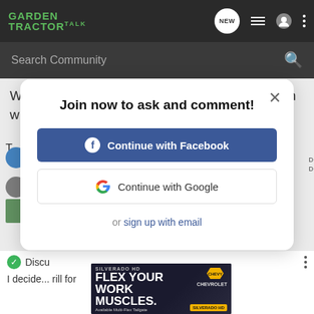Garden Tractor Talk
Search Community
Well shucks, sorry I was of no help. Good luck in whatever route you go to get one.
[Figure (screenshot): Join now modal dialog with Continue with Facebook and Continue with Google buttons, and or sign up with email link]
I decide... rill for
[Figure (photo): Chevrolet Silverado HD advertisement banner: FLEX YOUR WORK MUSCLES. Available Multi-Flex Tailgate. Chevrolet Silverado HD.]